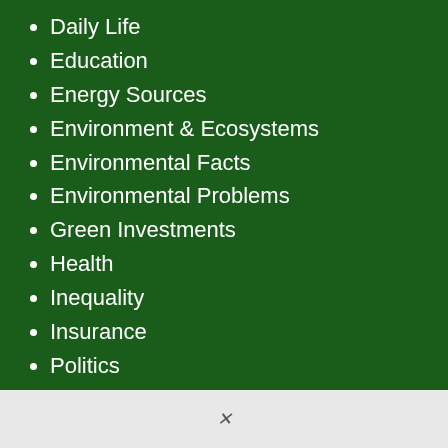Daily Life
Education
Energy Sources
Environment & Ecosystems
Environmental Facts
Environmental Problems
Green Investments
Health
Inequality
Insurance
Politics
Quality of Life
Resources
Sustainability & Technology
Vehicles
Waste Management
Weekly Tasks